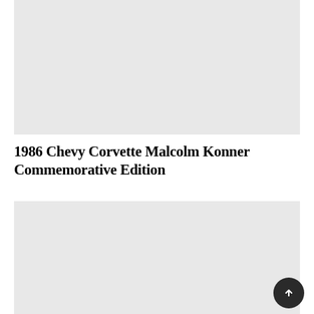[Figure (photo): Top image placeholder - light gray rectangle representing a car photo]
1986 Chevy Corvette Malcolm Konner Commemorative Edition
[Figure (photo): Bottom image placeholder - light gray rectangle representing a car photo]